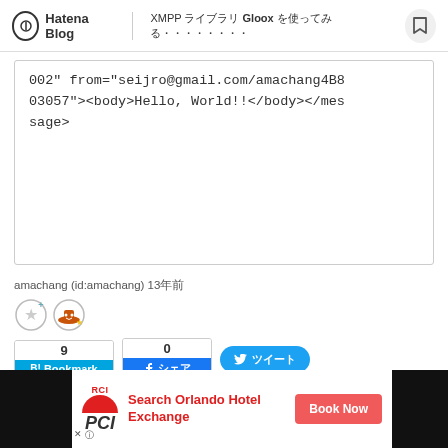Hatena Blog | XMPP ライブラリ Gloox を使ってみる
002" from="seijro@gmail.com/amachang4B803057"><body>Hello, World!!</body></message>
amachang (id:amachang) 13年前
[Figure (other): Star and hat user icons]
[Figure (other): Social sharing buttons: B! Bookmark (9), Facebook シェア (0), Twitter ツイート]
[Figure (other): Advertisement: RCI Search Orlando Hotel Exchange - Book Now]